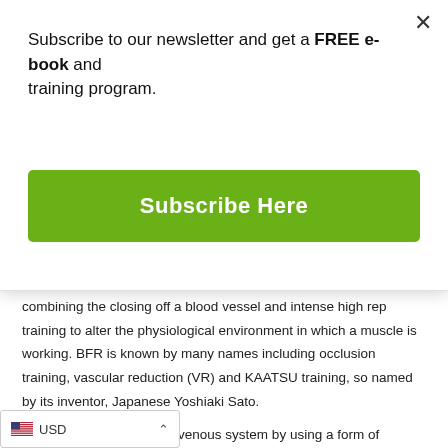Subscribe to our newsletter and get a FREE e-book and training program.
[Figure (other): Green Subscribe Here button]
combining the closing off a blood vessel and intense high rep training to alter the physiological environment in which a muscle is working. BFR is known by many names including occlusion training, vascular reduction (VR) and KAATSU training, so named by its inventor, Japanese Yoshiaki Sato.
It involves obstructing the venous system by using a form of compression to partially close a vein, reducing venous blood return to the heart altering the vascular system and bio-physiological chemistry of the muscles. BFR training should never impede the artery.
USD